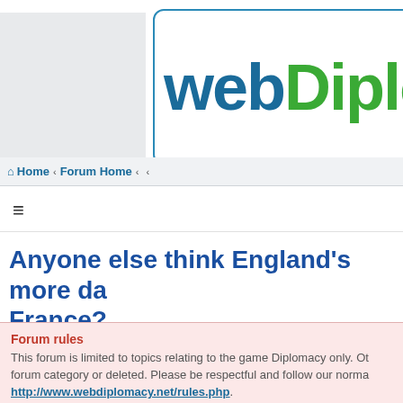webDiplo
Home · Forum Home · ‹ ‹
≡
Anyone else think England's more da France?
Forum rules
This forum is limited to topics relating to the game Diplomacy only. Other topics will be moved to the correct forum category or deleted. Please be respectful and follow our norma http://www.webdiplomacy.net/rules.php.